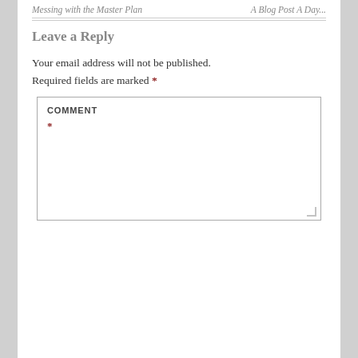Messing with the Master Plan | A Blog Post A Day...
Leave a Reply
Your email address will not be published. Required fields are marked *
COMMENT *